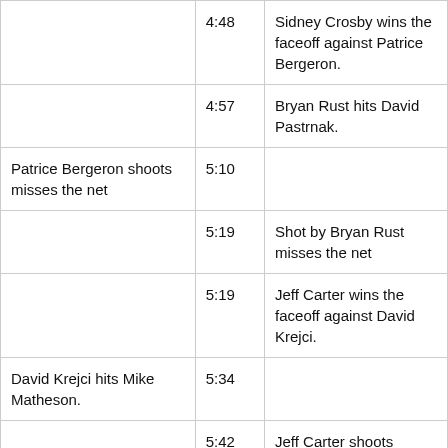|  | Time |  |
| --- | --- | --- |
|  | 4:48 | Sidney Crosby wins the faceoff against Patrice Bergeron. |
|  | 4:57 | Bryan Rust hits David Pastrnak. |
| Patrice Bergeron shoots misses the net | 5:10 |  |
|  | 5:19 | Shot by Bryan Rust misses the net |
|  | 5:19 | Jeff Carter wins the faceoff against David Krejci. |
| David Krejci hits Mike Matheson. | 5:34 |  |
|  | 5:42 | Jeff Carter shoots Saved by Tuukka Rask. |
|  |  | Teddy Blueger penalty for |